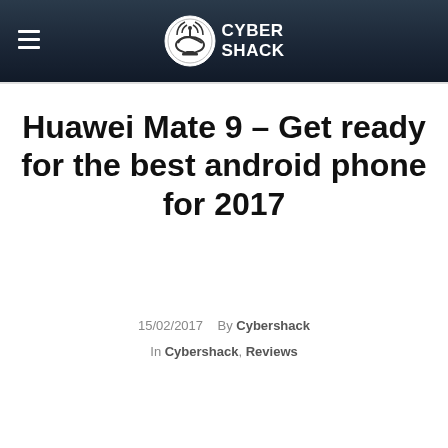Cyber Shack
Huawei Mate 9 – Get ready for the best android phone for 2017
15/02/2017   By Cybershack
In Cybershack, Reviews